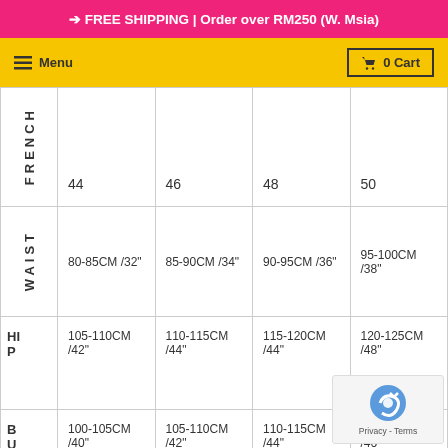➔ FREE SHIPPING | Order over RM250 (W. Msia)
Menu | 0 Cart
|  | 44 / 80-85CM /32" | 46 / 85-90CM /34" | 48 / 90-95CM /36" | 50 / 95-100CM /38" |
| --- | --- | --- | --- | --- |
| FRENCH | 44 | 46 | 48 | 50 |
| WAIST | 80-85CM /32" | 85-90CM /34" | 90-95CM /36" | 95-100CM /38" |
| HIP | 105-110CM /42" | 110-115CM /44" | 115-120CM /44" | 120-125CM /48" |
| BUST | 100-105CM /40" | 105-110CM /42" | 110-115CM /44" | 115-120CM /46" |